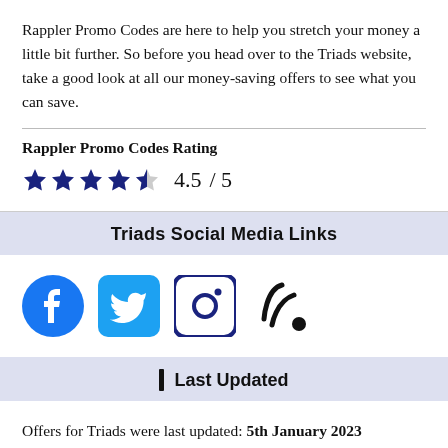Rappler Promo Codes are here to help you stretch your money a little bit further. So before you head over to the Triads website, take a good look at all our money-saving offers to see what you can save.
Rappler Promo Codes Rating
4.5 / 5 (4.5 out of 5 stars)
Triads Social Media Links
[Figure (infographic): Social media icons: Facebook, Twitter, Instagram, Blogger/RSS]
Last Updated
Offers for Triads were last updated: 5th January 2023